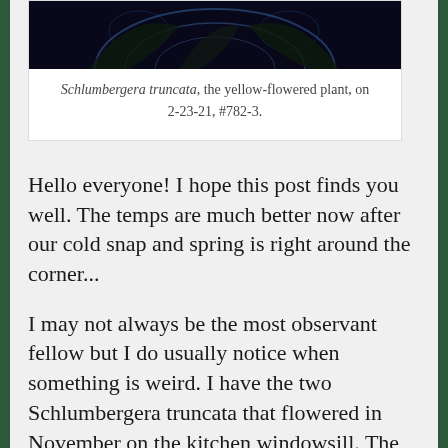[Figure (photo): Dark close-up photo of a plant, dark background with blue-green light arcs visible]
Schlumbergera truncata, the yellow-flowered plant, on 2-23-21, #782-3.
Hello everyone! I hope this post finds you well. The temps are much better now after our cold snap and spring is right around the corner...
I may not always be the most observant fellow but I do usually notice when something is weird. I have the two Schlumbergera truncata that flowered in November on the kitchen windowsill. The others were in my bedroom on the new plant